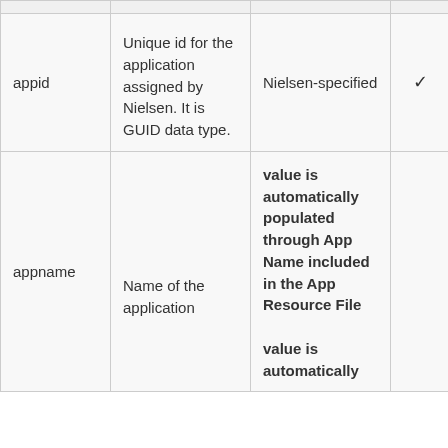| Field | Description | How to Set | Required | Example |
| --- | --- | --- | --- | --- |
| appid | Unique id for the application assigned by Nielsen. It is GUID data type. | Nielsen-specified | ✓ | "PXXXXXXXX-XXXX-XXXX-XXXX-XXXXXXXXXXXX" |
| appname | Name of the application | value is automatically populated through App Name included in the App Resource File

value is automatically... |  | "Nielsen App" |